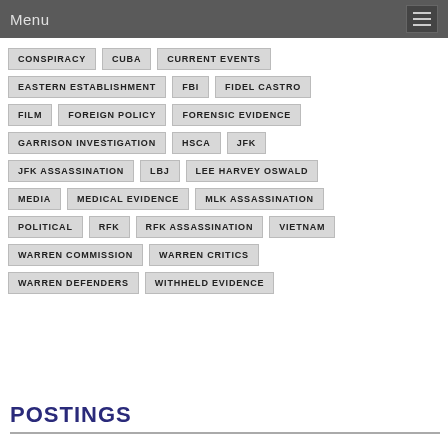Menu
CONSPIRACY
CUBA
CURRENT EVENTS
EASTERN ESTABLISHMENT
FBI
FIDEL CASTRO
FILM
FOREIGN POLICY
FORENSIC EVIDENCE
GARRISON INVESTIGATION
HSCA
JFK
JFK ASSASSINATION
LBJ
LEE HARVEY OSWALD
MEDIA
MEDICAL EVIDENCE
MLK ASSASSINATION
POLITICAL
RFK
RFK ASSASSINATION
VIETNAM
WARREN COMMISSION
WARREN CRITICS
WARREN DEFENDERS
WITHHELD EVIDENCE
POSTINGS